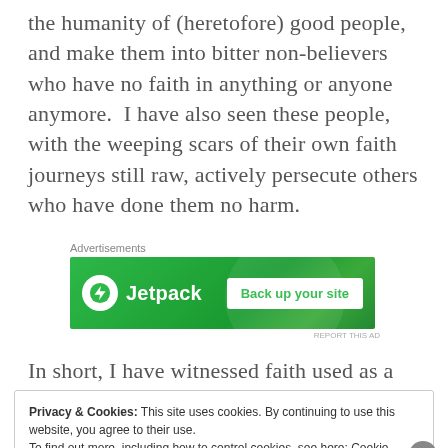the humanity of (heretofore) good people, and make them into bitter non-believers who have no faith in anything or anyone anymore.  I have also seen these people, with the weeping scars of their own faith journeys still raw, actively persecute others who have done them no harm.
[Figure (other): Jetpack advertisement banner with green background, Jetpack logo and text, and a 'Back up your site' white button]
In short, I have witnessed faith used as a force for
Privacy & Cookies: This site uses cookies. By continuing to use this website, you agree to their use.
To find out more, including how to control cookies, see here: Cookie Policy
Close and accept